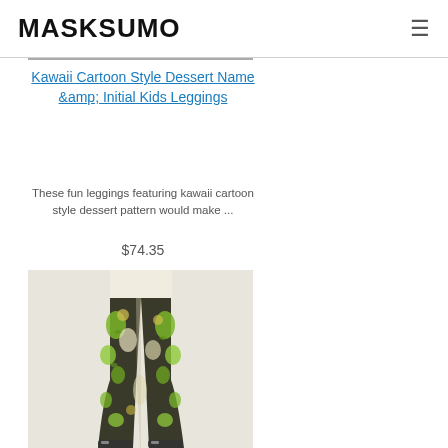MASKSUMO
Kawaii Cartoon Style Dessert Name &amp; Initial Kids Leggings
These fun leggings featuring kawaii cartoon style dessert pattern would make ...
$74.35
[Figure (photo): Photo of kids leggings with kawaii cartoon style dessert pattern in green, black, and cream colors, shown on a model from waist down]